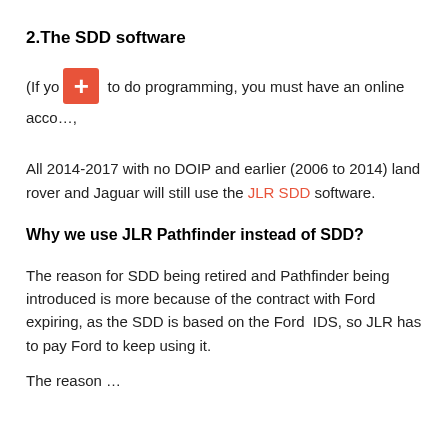2.The SDD software
(If you [+icon] to do programming, you must have an online account,
All 2014-2017 with no DOIP and earlier (2006 to 2014) land rover and Jaguar will still use the JLR SDD software.
Why we use JLR Pathfinder instead of SDD?
The reason for SDD being retired and Pathfinder being introduced is more because of the contract with Ford expiring, as the SDD is based on the Ford  IDS, so JLR has to pay Ford to keep using it.
The reason...